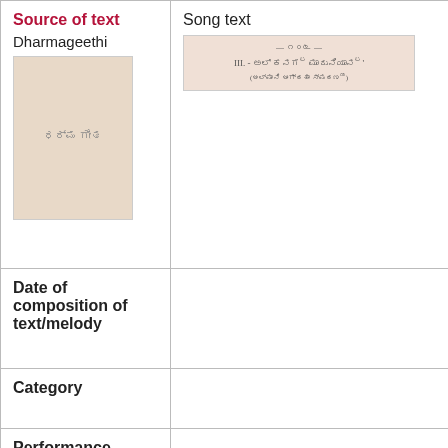| Source of text | Song text |
| --- | --- |
| Dharmageethi [book image] | [song text image] |
| Date of composition of text/melody |  |
| Category |  |
| Performance space |  |